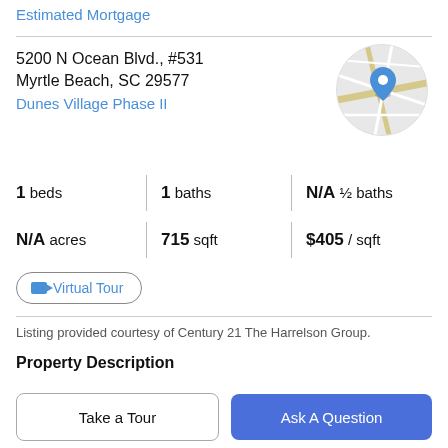Estimated Mortgage
5200 N Ocean Blvd., #531
Myrtle Beach, SC 29577
Dunes Village Phase II
[Figure (map): Circular map thumbnail showing street map with a blue location pin marker]
1 beds | 1 baths | N/A ½ baths
N/A acres | 715 sqft | $405 / sqft
Virtual Tour
Listing provided courtesy of Century 21 The Harrelson Group.
Property Description
MUST SEE!!! Take a look at this BEAUTIFUL 1 bedroom 1
Take a Tour
Ask A Question